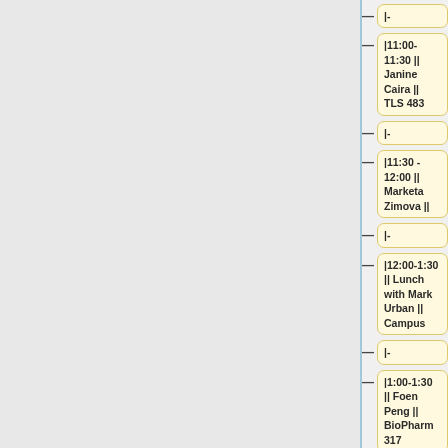|-
|11:00-11:30 || Janine Caira || TLS 483
|-
|11:30 - 12:00 || Marketa Zimova ||
|-
|12:00-1:30 || Lunch with Mark Urban || Campus
|-
|1:00-1:30 || Foen Peng || BioPharm 317